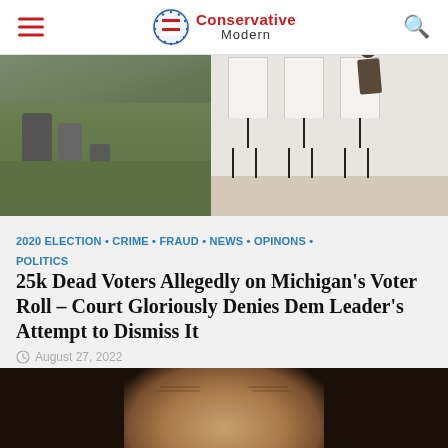Conservative Modern
[Figure (photo): Split image: left side shows gravestones in a cemetery with grass, right side shows voting booths with a person voting]
2020 ELECTION • CRIME • FRAUD • NEWS • OPINONS • POLITICS
25k Dead Voters Allegedly on Michigan's Voter Roll – Court Gloriously Denies Dem Leader's Attempt to Dismiss It
August 27, 2022
[Figure (photo): Close-up portrait of an older man with grey hair against a dark background]